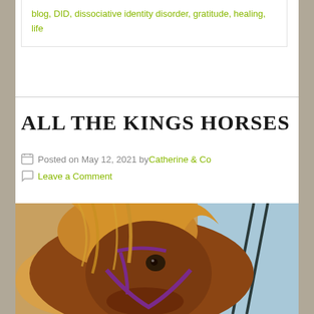blog, DID, dissociative identity disorder, gratitude, healing, life
ALL THE KINGS HORSES
Posted on May 12, 2021 by Catherine & Co
Leave a Comment
[Figure (photo): Close-up photograph of a chestnut horse with a blond mane and a purple halter, standing near a blue fence/gate. Warm golden light in background.]